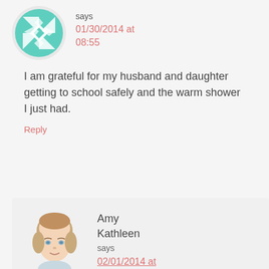[Figure (illustration): Circular avatar with teal geometric quilt/pinwheel pattern on light background]
says
01/30/2014 at 08:55
I am grateful for my husband and daughter getting to school safely and the warm shower I just had.
Reply
[Figure (photo): Circular profile photo of Amy Kathleen, a woman with light brown hair and blue eyes, smiling]
Amy Kathleen
says
02/01/2014 at 10:48